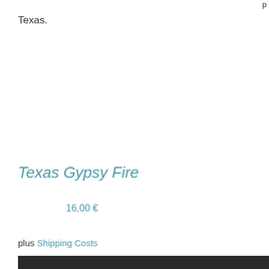p
Texas.
Texas Gypsy Fire
16,00 €
plus Shipping Costs